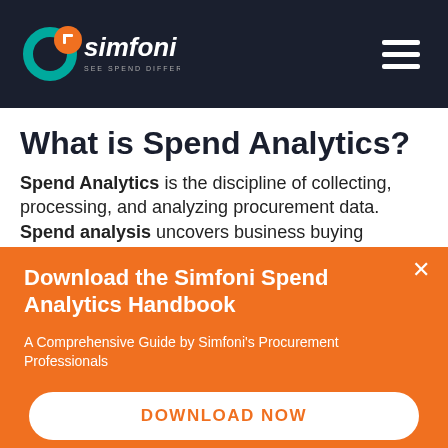[Figure (logo): Simfoni logo with teal ring and orange circle, white text 'simfoni' with tagline 'SEE SPEND DIFFERENTLY' on dark navy background]
What is Spend Analytics?
Spend Analytics is the discipline of collecting, processing, and analyzing procurement data. Spend analysis uncovers business buying
Download the Simfoni Spend Analytics Handbook
A Comprehensive Guide by Simfoni's Procurement Professionals
DOWNLOAD NOW